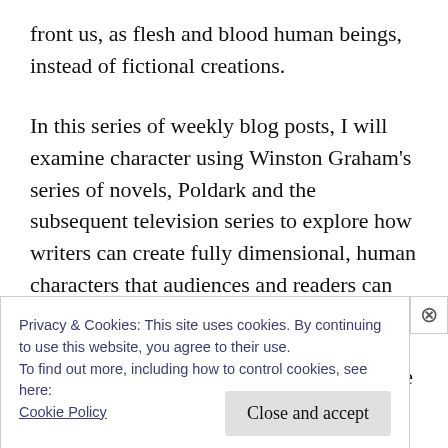front us, as flesh and blood human beings, instead of fictional creations.
In this series of weekly blog posts, I will examine character using Winston Graham's series of novels, Poldark and the subsequent television series to explore how writers can create fully dimensional, human characters that audiences and readers can relate to.
In the previous posts, I wrote about the title
Privacy & Cookies: This site uses cookies. By continuing to use this website, you agree to their use.
To find out more, including how to control cookies, see here:
Cookie Policy
Close and accept